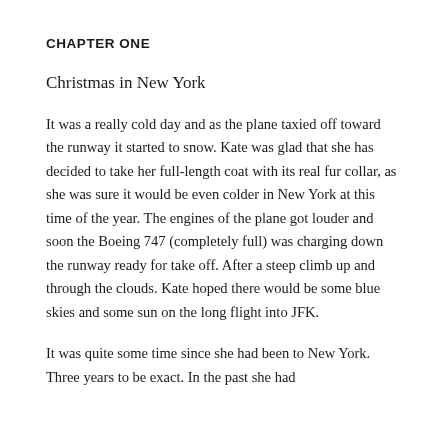CHAPTER ONE
Christmas in New York
It was a really cold day and as the plane taxied off toward the runway it started to snow. Kate was glad that she has decided to take her full-length coat with its real fur collar, as she was sure it would be even colder in New York at this time of the year. The engines of the plane got louder and soon the Boeing 747 (completely full) was charging down the runway ready for take off. After a steep climb up and through the clouds. Kate hoped there would be some blue skies and some sun on the long flight into JFK.
It was quite some time since she had been to New York. Three years to be exact. In the past she had